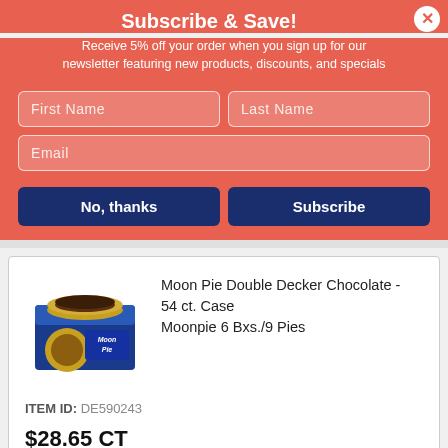Subscribe & Save!
Receive 5% off your order when you sign up for our newsletter featuring new products, discounts, and specials
First Name | Last Name | Email (form fields)
No, thanks | Subscribe (buttons)
Moon Pie Double Decker Chocolate - 54 ct. Case
Moonpie 6 Bxs./9 Pies
ITEM ID: DE590243
$28.65 CT
Qty  1  Add to Cart